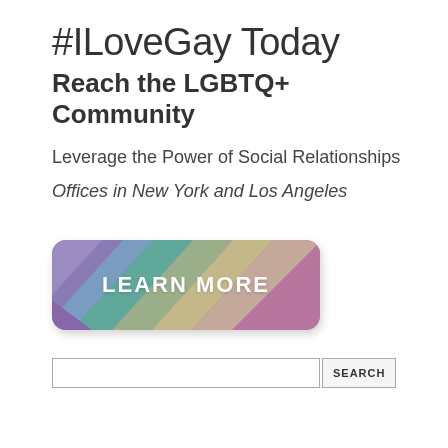#ILoveGay Today
Reach the LGBTQ+ Community
Leverage the Power of Social Relationships
Offices in New York and Los Angeles
[Figure (illustration): A rounded rectangle button with diagonal rainbow stripes (purple, blue, teal, sage green, tan, mauve/pink) and white bold text reading LEARN MORE]
[Figure (screenshot): A search input field with a SEARCH button to the right, and a partial image below with a pink border and black background]